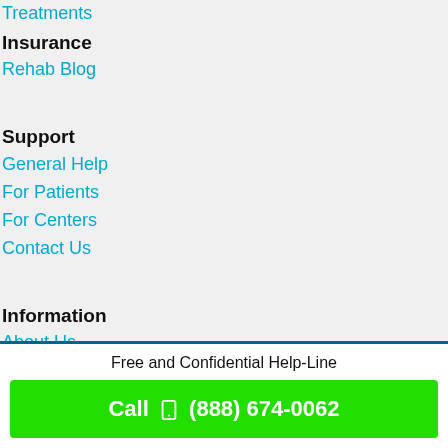Treatments
Insurance
Rehab Blog
Support
General Help
For Patients
For Centers
Contact Us
Information
About Us
Terms of Use
Privacy Policy
Cookie Policy
Free and Confidential Help-Line
Call  (888) 674-0062